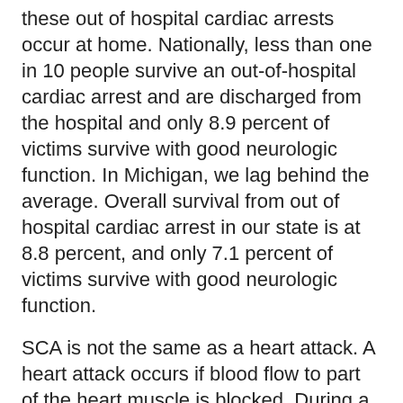these out of hospital cardiac arrests occur at home. Nationally, less than one in 10 people survive an out-of-hospital cardiac arrest and are discharged from the hospital and only 8.9 percent of victims survive with good neurologic function. In Michigan, we lag behind the average. Overall survival from out of hospital cardiac arrest in our state is at 8.8 percent, and only 7.1 percent of victims survive with good neurologic function.
SCA is not the same as a heart attack. A heart attack occurs if blood flow to part of the heart muscle is blocked. During a heart attack, the heart usually does not suddenly stop beating; however, SCA may happen during a heart attack or following recovery from a heart attack.
There are many causes of SCA including coronary heart disease, physical stress and some inherited disorders. SCA can happen in people of all ages